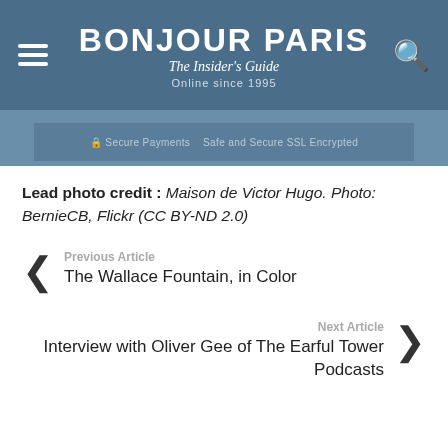BONJOUR PARIS
The Insider's Guide
Online since 1995
[Figure (screenshot): Blue banner with text: Secure Payments | Safe and Secure SSL Encrypted]
Lead photo credit : Maison de Victor Hugo. Photo: BernieCB, Flickr (CC BY-ND 2.0)
Previous Article
The Wallace Fountain, in Color
Next Article
Interview with Oliver Gee of The Earful Tower Podcasts